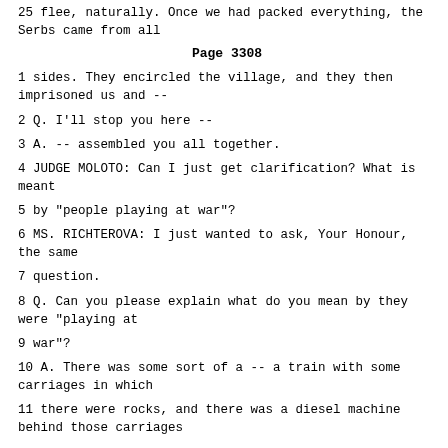25 flee, naturally. Once we had packed everything, the Serbs came from all
Page 3308
1 sides. They encircled the village, and they then imprisoned us and --
2 Q. I'll stop you here --
3 A. -- assembled you all together.
4 JUDGE MOLOTO: Can I just get clarification? What is meant
5 by "people playing at war"?
6 MS. RICHTEROVA: I just wanted to ask, Your Honour, the same
7 question.
8 Q. Can you please explain what do you mean by they were "playing at
9 war"?
10 A. There was some sort of a -- a train with some carriages in which
11 there were rocks, and there was a diesel machine behind those carriages